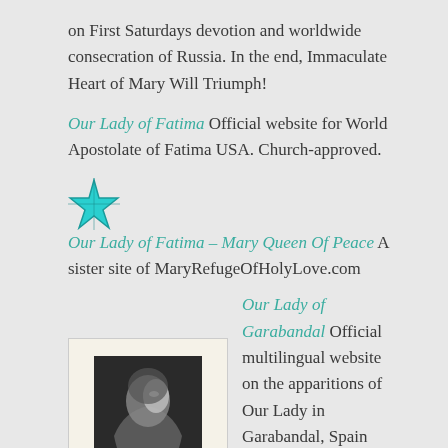on First Saturdays devotion and worldwide consecration of Russia. In the end, Immaculate Heart of Mary Will Triumph!
Our Lady of Fatima Official website for World Apostolate of Fatima USA. Church-approved.
★ Our Lady of Fatima – Mary Queen Of Peace A sister site of MaryRefugeOfHolyLove.com
[Figure (photo): Black and white vintage photograph of a woman (likely depicting the Virgin Mary) looking upward, in an oval/portrait style]
Our Lady of Garabandal Official multilingual website on the apparitions of Our Lady in Garabandal, Spain from June 1961 to November 1965. First